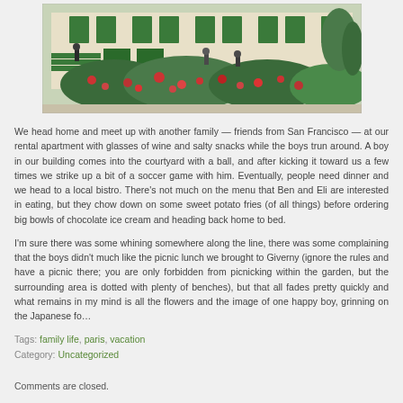[Figure (photo): Photo of a garden with a house featuring green shutters and steps, red flowers in the foreground, lush green bushes, and visitors walking around — likely Monet's garden at Giverny.]
We head home and meet up with another family — friends from San Francisco — at our rental apartment with glasses of wine and salty snacks while the boys run around. A boy in our building comes into the courtyard with a ball, and after kicking it toward us a few times we strike up a bit of a soccer game with him. Eventually, people need dinner and we head to a local bistro. There's not much on the menu that Ben and Eli are interested in eating, but they chow down on some sweet potato fries (of all things) before ordering big bowls of chocolate ice cream and heading back home to bed.
I'm sure there was some whining somewhere along the line, there was some complaining that the boys didn't much like the picnic lunch we brought to Giverny (ignore the rules and have a picnic there; you are only forbidden from picnicking within the garden, but the surrounding area is dotted with plenty of benches), but that all fades pretty quickly and what remains in my mind is all the flowers and the image of one happy boy, grinning on the Japanese fo
Tags: family life, paris, vacation
Category: Uncategorized
Comments are closed.